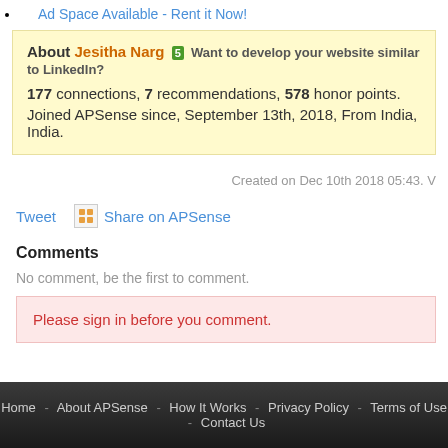Ad Space Available - Rent it Now!
About Jesitha Narg [5 star] Want to develop your website similar to LinkedIn? 177 connections, 7 recommendations, 578 honor points. Joined APSense since, September 13th, 2018, From India, India.
Created on Dec 10th 2018 05:43. V
Tweet   Share on APSense
Comments
No comment, be the first to comment.
Please sign in before you comment.
Home - About APSense - How It Works - Privacy Policy - Terms of Use - Contact Us